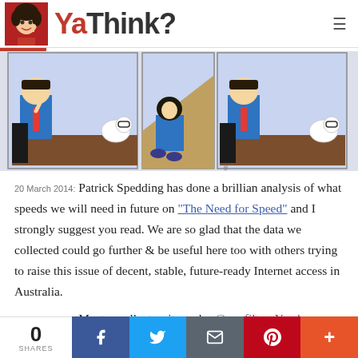YaThink?
[Figure (illustration): Dilbert comic strip showing three panels: a character at a desk with Dogbert, a person sitting on a ramp, and the character again at a desk with Dogbert. The www.dilbert.com watermark is visible.]
20 March 2014: Patrick Spedding has done a brillian analysis of what speeds we will need in future on "The Need for Speed" and I strongly suggest you read.  We are so glad that the data we collected could go further & be useful here too with others trying to raise this issue of decent, stable, future-ready Internet access in Australia.
17 March 2014: Most excellent write up by @no_filter_Yamba on how
0 SHARES | Facebook | Twitter | Email | Pinterest | More